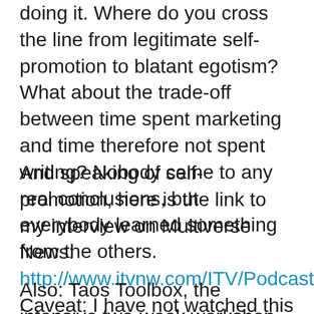doing it. Where do you cross the line from legitimate self-promotion to blatant egotism? What about the trade-off between time spent marketing and time therefore not spent writing? Nobody came to any real conclusions, but everybody learned something from the others.
And speaking of self-promotion, here is the link to my interview on Multiverse News: http://www.itvnw.com/ITV/Podcasts/ITVLIVEMulti/ITVLIVETST051211Multi.mp4 Caveat: I have not watched this interview (I hate watching myself on camera) so I have no idea if I said anything embarrassing.
Also: Taos Toolbox, the intensive two-week workshop that Walter Jon Williams and I...